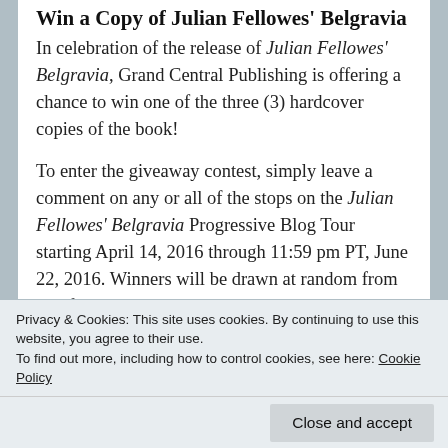Win a Copy of Julian Fellowes' Belgravia
In celebration of the release of Julian Fellowes' Belgravia, Grand Central Publishing is offering a chance to win one of the three (3) hardcover copies of the book!
To enter the giveaway contest, simply leave a comment on any or all of the stops on the Julian Fellowes' Belgravia Progressive Blog Tour starting April 14, 2016 through 11:59 pm PT, June 22, 2016. Winners will be drawn at random from all of the comments and announced on Austenprose.com June 23, 2016. Winners have
Privacy & Cookies: This site uses cookies. By continuing to use this website, you agree to their use.
To find out more, including how to control cookies, see here: Cookie Policy
Close and accept